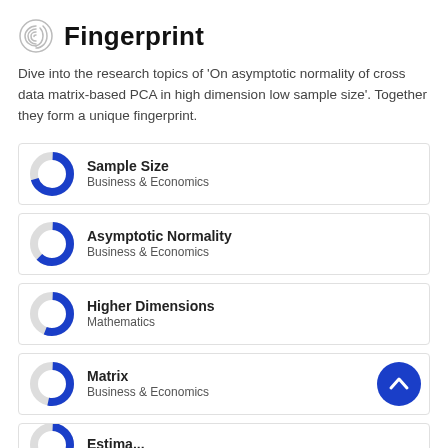Fingerprint
Dive into the research topics of 'On asymptotic normality of cross data matrix-based PCA in high dimension low sample size'. Together they form a unique fingerprint.
Sample Size
Business & Economics
Asymptotic Normality
Business & Economics
Higher Dimensions
Mathematics
Matrix
Business & Economics
Estima...